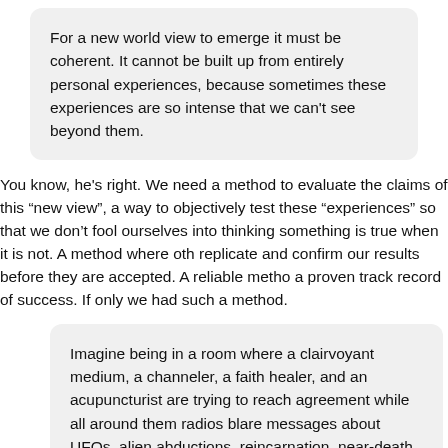For a new world view to emerge it must be coherent. It cannot be built up from entirely personal experiences, because sometimes these experiences are so intense that we can't see beyond them.
You know, he's right. We need a method to evaluate the claims of this “new view”, a way to objectively test these “experiences” so that we don’t fool ourselves into thinking something is true when it is not. A method where others can replicate and confirm our results before they are accepted. A reliable method with a proven track record of success. If only we had such a method.
Imagine being in a room where a clairvoyant medium, a channeler, a faith healer, and an acupuncturist are trying to reach agreement while all around them radios blare messages about UFOs, alien abductions, reincarnation, near-death experiences, etc. The Babel of voices is so intense as to be unintelligible.
Yes, I imagine that a room with a clairvoyant medium, a channeler, a faith healer, and an acupuncturist all babbling together would be pretty unintelligible. Ra